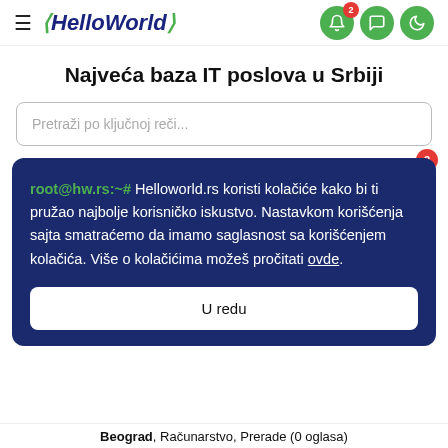HelloWorld — navigation header with hamburger menu, logo, notification icons
Najveća baza IT poslova u Srbiji
Pretraži po ključnoj reči...
FILTERI  ∨  (badge: 2)
root@hw.rs:~# Helloworld.rs koristi kolačiće kako bi ti pružao najbolje korisničko iskustvo. Nastavkom korišćenja sajta smatraćemo da imamo saglasnost sa korišćenjem kolačića. Više o kolačićima možeš pročitati ovde.
U redu
Beograd, Računarstvo, Prerade (0 oglasa)